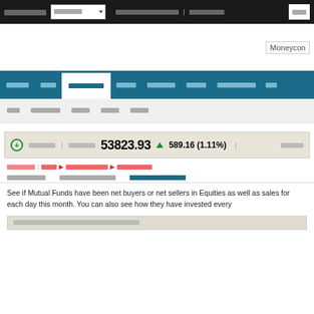Navigation top bar with site links and dropdown
[Figure (screenshot): Moneycontrol logo area]
Main navigation: Home, Markets, Mutual Funds tab (active), Stocks, Commodities, Bonds, Portfolio, etc.
Sub-navigation: MF, MutualFunds, Funds, Stocks, Bonds
Sensex 53823.93 ▲ 589.16 (1.11%)
Breadcrumb: Home > Mutual Fund Activity > Mutual Funds
Tab row: Mutual Funds | Fund Activity by Category | FII/DII Activity by Category
See if Mutual Funds have been net buyers or net sellers in Equities as well as sales for each day this month. You can also see how they have invested every
| मार्केट डेटा के अनुसार म्यूचुअल फंड गतिविधि-2020 |
| --- |